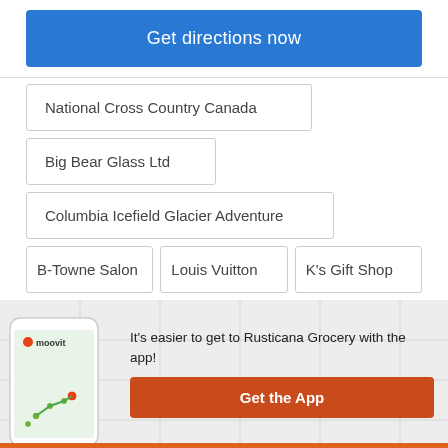Get directions now
National Cross Country Canada
Big Bear Glass Ltd
Columbia Icefield Glacier Adventure
B-Towne Salon
Louis Vuitton
K's Gift Shop
It's easier to get to Rusticana Grocery with the app!
Get the App